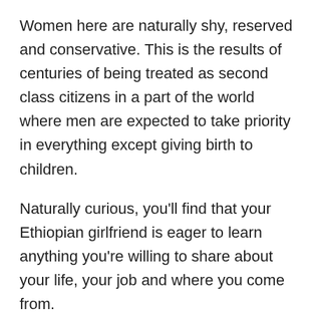Women here are naturally shy, reserved and conservative. This is the results of centuries of being treated as second class citizens in a part of the world where men are expected to take priority in everything except giving birth to children.
Naturally curious, you'll find that your Ethiopian girlfriend is eager to learn anything you're willing to share about your life, your job and where you come from.
Another great part of their psychological makeup is they're very easygoing when it comes to dates. You don't need to come up with something new every time – she'll just be glad to spend time with you doing whatever.